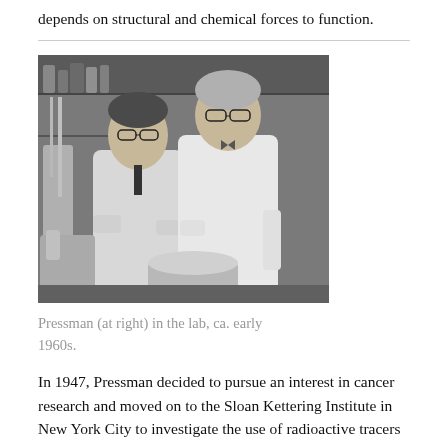depends on structural and chemical forces to function.
[Figure (photo): Black and white photograph of two men in white lab coats examining something in a laboratory setting, ca. early 1960s. The man on the right (Pressman) is taller with grey hair and glasses.]
Pressman (at right) in the lab, ca. early 1960s.
In 1947, Pressman decided to pursue an interest in cancer research and moved on to the Sloan Kettering Institute in New York City to investigate the use of radioactive tracers